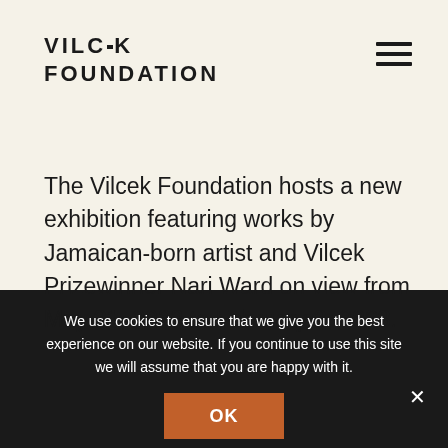VILCEK FOUNDATION
The Vilcek Foundation hosts a new exhibition featuring works by Jamaican-born artist and Vilcek Prizewinner Nari Ward on view from May 31, 2022 to February 3, 2023.
We use cookies to ensure that we give you the best experience on our website. If you continue to use this site we will assume that you are happy with it.